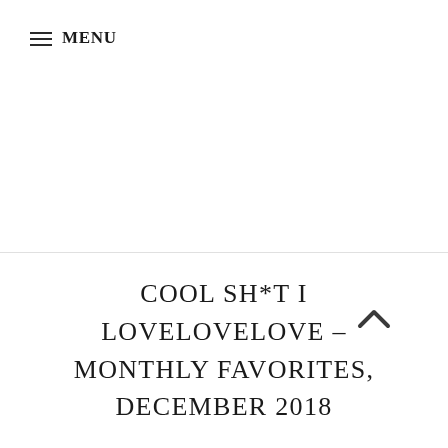≡ MENU
COOL SH*T I LOVELOVELOVE – MONTHLY FAVORITES, DECEMBER 2018